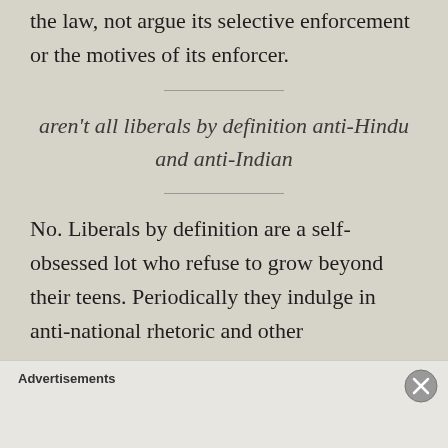the law, not argue its selective enforcement or the motives of its enforcer.
aren't all liberals by definition anti-Hindu and anti-Indian
No. Liberals by definition are a self-obsessed lot who refuse to grow beyond their teens. Periodically they indulge in anti-national rhetoric and other
Advertisements